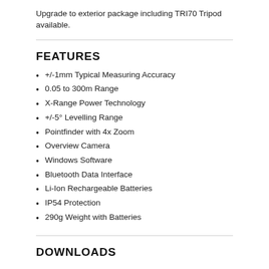Upgrade to exterior package including TRI70 Tripod available.
FEATURES
+/-1mm Typical Measuring Accuracy
0.05 to 300m Range
X-Range Power Technology
+/-5° Levelling Range
Pointfinder with 4x Zoom
Overview Camera
Windows Software
Bluetooth Data Interface
Li-Ion Rechargeable Batteries
IP54 Protection
290g Weight with Batteries
DOWNLOADS